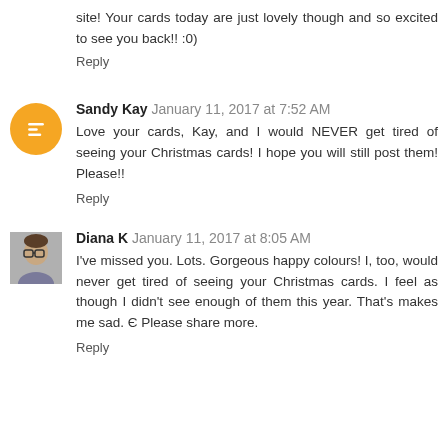site! Your cards today are just lovely though and so excited to see you back!! :0)
Reply
Sandy Kay  January 11, 2017 at 7:52 AM
Love your cards, Kay, and I would NEVER get tired of seeing your Christmas cards! I hope you will still post them! Please!!
Reply
Diana K  January 11, 2017 at 8:05 AM
I've missed you. Lots. Gorgeous happy colours! I, too, would never get tired of seeing your Christmas cards. I feel as though I didn't see enough of them this year. That's makes me sad. Є Please share more.
Reply